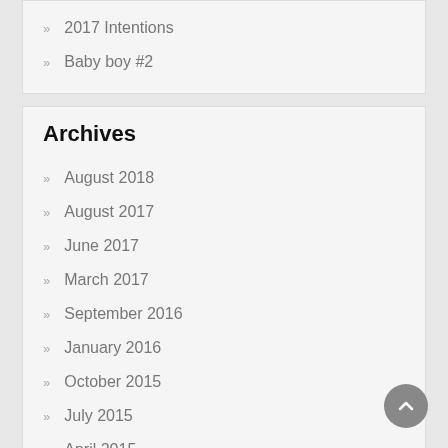» 2017 Intentions
» Baby boy #2
Archives
» August 2018
» August 2017
» June 2017
» March 2017
» September 2016
» January 2016
» October 2015
» July 2015
» April 2015
» February 2015
» January 2015
» December 2014